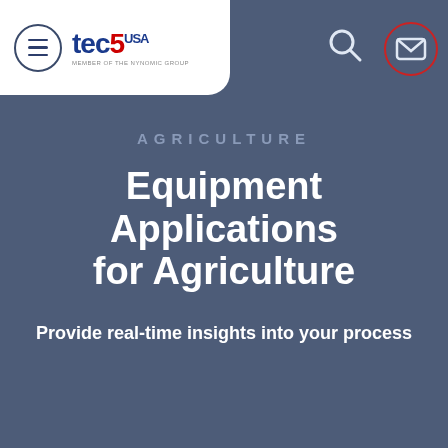[Figure (logo): tec5 USA logo with hamburger menu icon on white rounded card in top-left corner]
[Figure (other): Search icon (magnifying glass) in top-right area of header]
[Figure (other): Mail/envelope icon with red circular border in top-right corner, partially clipped]
AGRICULTURE
Equipment Applications for Agriculture
Provide real-time insights into your process